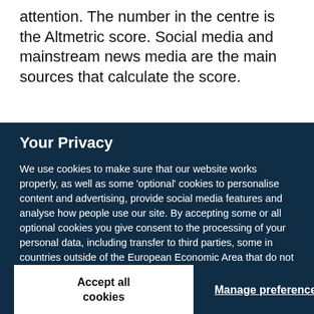attention. The number in the centre is the Altmetric score. Social media and mainstream news media are the main sources that calculate the score.
Your Privacy
We use cookies to make sure that our website works properly, as well as some ‘optional’ cookies to personalise content and advertising, provide social media features and analyse how people use our site. By accepting some or all optional cookies you give consent to the processing of your personal data, including transfer to third parties, some in countries outside of the European Economic Area that do not offer the same data protection standards as the country where you live. You can decide which optional cookies to accept by clicking on ‘Manage Settings’, where you can also find more information about how your personal data is processed. Further information can be found in our privacy policy.
Accept all cookies
Manage preferences